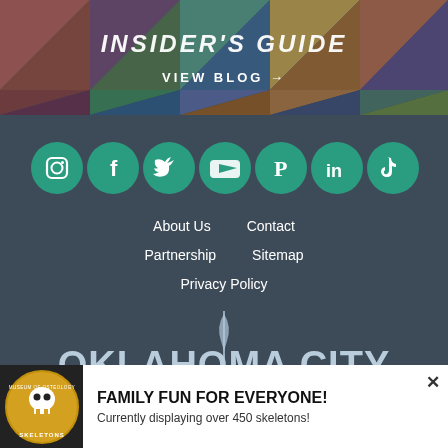[Figure (illustration): Colorful geometric/quilt pattern banner with 'INSIDER'S GUIDE' text and 'VIEW BLOG →' link]
[Figure (logo): Social media icons: Instagram, Facebook, Twitter, YouTube, Pinterest, LinkedIn, TikTok — all in green circles on dark background]
About Us   Contact
Partnership   Sitemap
Privacy Policy
[Figure (logo): Oklahoma City — The Modern Frontier logo in light blue/white on dark background]
[Figure (logo): Skeletons Museum of Osteology logo — circular badge with skull]
FAMILY FUN FOR EVERYONE! Currently displaying over 450 skeletons!